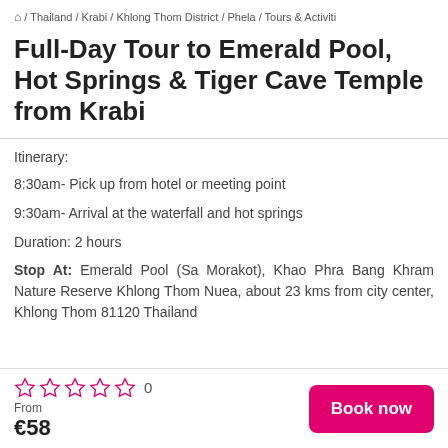⌂ / Thailand / Krabi / Khlong Thom District / Phela / Tours & Activiti
Full-Day Tour to Emerald Pool, Hot Springs & Tiger Cave Temple from Krabi
Itinerary:
8:30am- Pick up from hotel or meeting point
9:30am- Arrival at the waterfall and hot springs
Duration: 2 hours
Stop At: Emerald Pool (Sa Morakot), Khao Phra Bang Khram Nature Reserve Khlong Thom Nuea, about 23 kms from city center, Khlong Thom 81120 Thailand
0 stars  0
From
€58
Book now